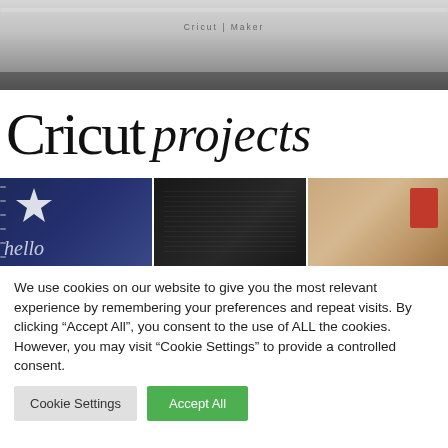[Figure (photo): Top portion of a Cricut Maker machine, white/gray body, shown from above on a light background]
Cricut projects
[Figure (photo): Three craft project photos: a navy notebook with a star and 'hello' text, a chalkboard craft project, and a wooden cutting board with red accents]
We use cookies on our website to give you the most relevant experience by remembering your preferences and repeat visits. By clicking “Accept All”, you consent to the use of ALL the cookies. However, you may visit “Cookie Settings” to provide a controlled consent.